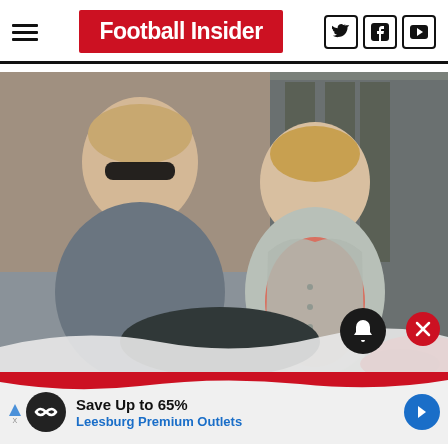Football Insider
[Figure (photo): Two people walking outdoors — a young man with sunglasses in a grey sweater on the left, and a woman with blonde hair in a grey cardigan over a coral top on the right. Background shows stone architecture and parked cars.]
[Figure (infographic): Advertisement banner: Save Up to 65% - Leesburg Premium Outlets, with logo circle, arrow button, and wave decoration at top.]